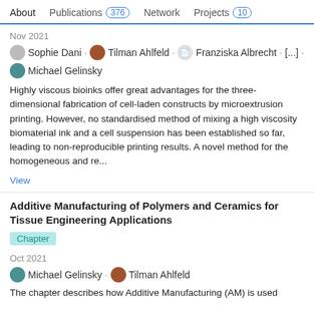About  Publications 376  Network  Projects 10
Nov 2021
Sophie Dani · Tilman Ahlfeld · Franziska Albrecht · [...] · Michael Gelinsky
Highly viscous bioinks offer great advantages for the three-dimensional fabrication of cell-laden constructs by microextrusion printing. However, no standardised method of mixing a high viscosity biomaterial ink and a cell suspension has been established so far, leading to non-reproducible printing results. A novel method for the homogeneous and re...
View
Additive Manufacturing of Polymers and Ceramics for Tissue Engineering Applications
Chapter
Oct 2021
Michael Gelinsky · Tilman Ahlfeld
The chapter describes how Additive Manufacturing (AM) is used